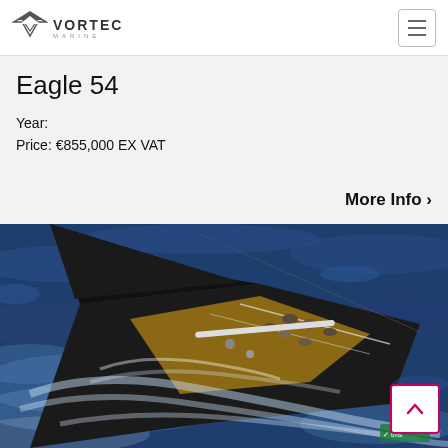VORTEC MARINE
Eagle 54
Year:
Price: €855,000 EX VAT
More Info >
[Figure (photo): Aerial view of a large black-sailed racing yacht (Eagle 54) sailing on dark blue water, shot from above, showing people on deck, teak deck, and white water wake]
Scroll to top button with upward arrow